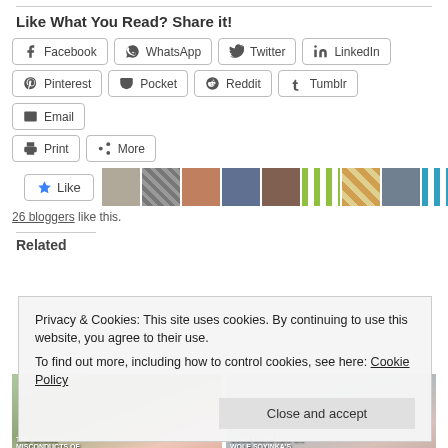Like What You Read? Share it!
Facebook WhatsApp Twitter LinkedIn Pinterest Pocket Reddit Tumblr Email Print More
[Figure (other): Like button with star icon and a strip of 10+ blogger avatar thumbnails]
26 bloggers like this.
Related
Privacy & Cookies: This site uses cookies. By continuing to use this website, you agree to their use.
To find out more, including how to control cookies, see here: Cookie Policy
Close and accept